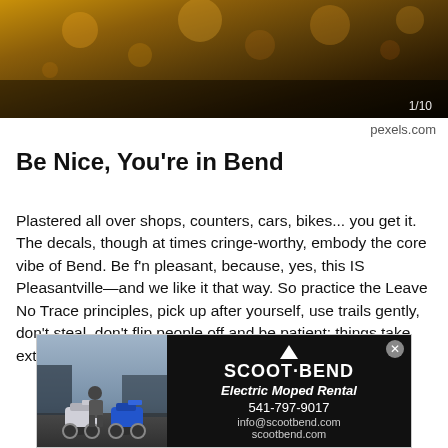[Figure (photo): Dark warm-toned outdoor photo, appears to show bokeh lights or foliage in golden/orange tones. Overlay text shows '1/10' in bottom right.]
pexels.com
Be Nice, You're in Bend
Plastered all over shops, counters, cars, bikes... you get it. The decals, though at times cringe-worthy, embody the core vibe of Bend. Be f'n pleasant, because, yes, this IS Pleasantville—and we like it that way. So practice the Leave No Trace principles, pick up after yourself, use trails gently, don't steal, don't flip people off and be patient: things take extra time here. Breathe in that beauty.
PLAY SLIDESHOW
[Figure (photo): Advertisement for Scoot Bend Electric Moped Rental. Left side shows photo of person with two mopeds in parking lot. Right side is black background with Scoot Bend logo, tagline 'Electric Moped Rental', phone 541-797-9017, info@scootbend.com, scootbend.com]